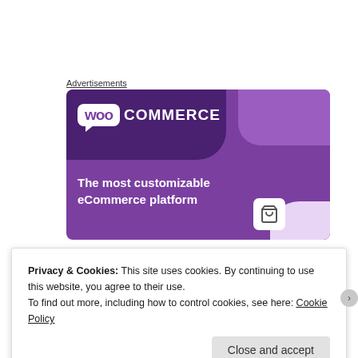Advertisements
[Figure (logo): WooCommerce advertisement banner with purple background. Shows WooCommerce logo (Woo in white speech bubble + COMMERCE in white text), tagline 'The most customizable eCommerce platform', and a shopping cart icon in a white rounded square.]
Privacy & Cookies: This site uses cookies. By continuing to use this website, you agree to their use.
To find out more, including how to control cookies, see here: Cookie Policy
Close and accept